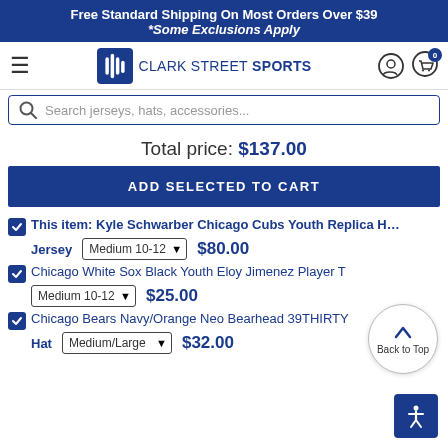Free Standard Shipping On Most Orders Over $39
*Some Exclusions Apply
[Figure (logo): Clark Street Sports logo with navy icon and text]
Search jerseys, hats, accessories...
Total price: $137.00
ADD SELECTED TO CART
This item: Kyle Schwarber Chicago Cubs Youth Replica Home Jersey  Medium 10-12  $80.00
Chicago White Sox Black Youth Eloy Jimenez Player T  Medium 10-12  $25.00
Chicago Bears Navy/Orange Neo Bearhead 39THIRTY Hat  Medium/Large  $32.00